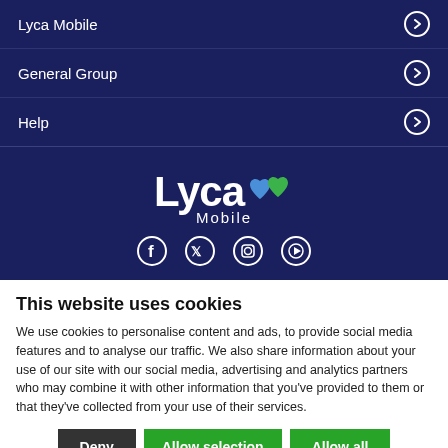Lyca Mobile
General Group
Help
[Figure (logo): Lyca Mobile logo with green heart icon and social media icons (Facebook, Twitter, Instagram, YouTube)]
This website uses cookies
We use cookies to personalise content and ads, to provide social media features and to analyse our traffic. We also share information about your use of our site with our social media, advertising and analytics partners who may combine it with other information that you've provided to them or that they've collected from your use of their services.
Deny | Allow selection | Allow all
Necessary | Preferences | Statistics | Marketing | Show details